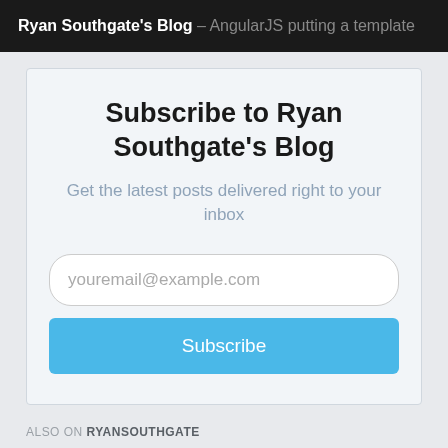Ryan Southgate's Blog – AngularJS putting a template
Subscribe to Ryan Southgate's Blog
Get the latest posts delivered right to your inbox
youremail@example.com
Subscribe
ALSO ON RYANSOUTHGATE